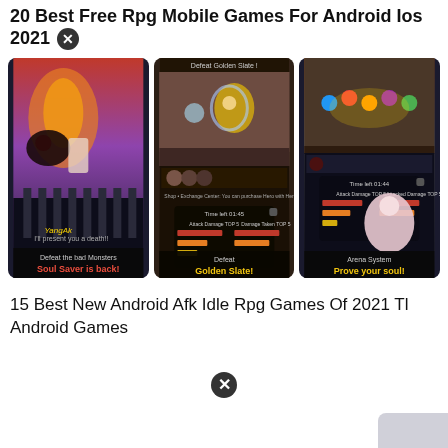20 Best Free Rpg Mobile Games For Android Ios 2021
[Figure (photo): Three mobile game screenshots side by side showing RPG games: Soul Saver, Golden Slate, and Arena System]
15 Best New Android Afk Idle Rpg Games Of 2021 Tl Android Games